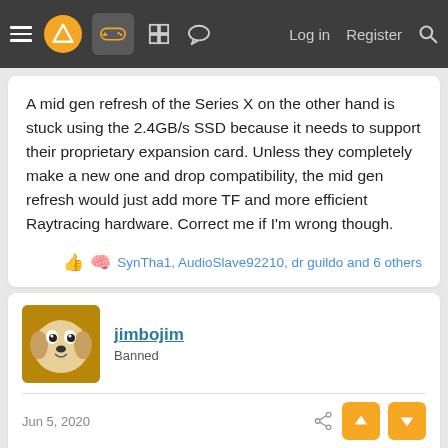Navigation bar with hamburger menu, logo, gamepad icon, grid icon, chat icon, Log in, Register, Search
A mid gen refresh of the Series X on the other hand is stuck using the 2.4GB/s SSD because it needs to support their proprietary expansion card. Unless they completely make a new one and drop compatibility, the mid gen refresh would just add more TF and more efficient Raytracing hardware. Correct me if I'm wrong though.
SynTha1, AudioSlave92210, dr guildo and 6 others
jimbojim
Banned
Jun 5, 2020
Entroyp said:
But, I wouldn't say Sony's SSD subsystem is Sony's tv tv tv tv